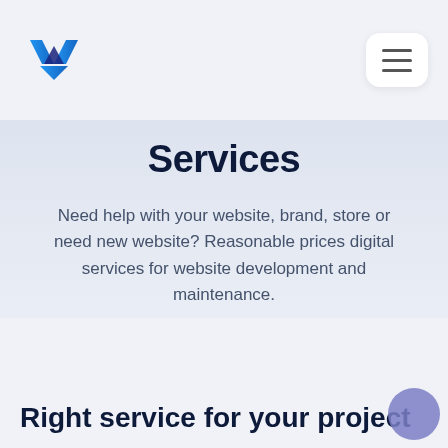[Figure (logo): Blue W/M angular logo mark]
[Figure (illustration): Hamburger menu icon button, white rounded rectangle with three horizontal lines]
Services
Need help with your website, brand, store or need new website? Reasonable prices digital services for website development and maintenance.
Right service for your project